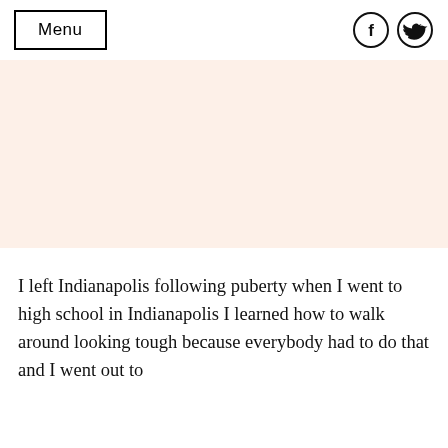Menu
[Figure (illustration): Light peach/cream colored rectangular hero image placeholder area]
I left Indianapolis following puberty when I went to high school in Indianapolis I learned how to walk around looking tough because everybody had to do that and I went out to